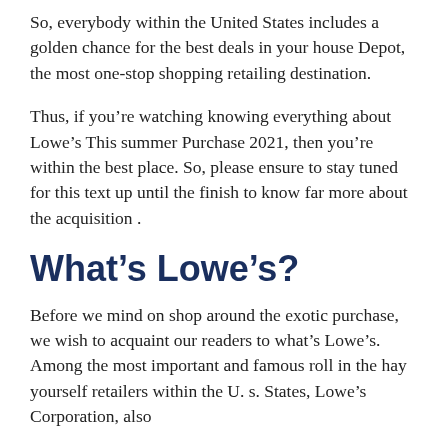So, everybody within the United States includes a golden chance for the best deals in your house Depot, the most one-stop shopping retailing destination.
Thus, if you’re watching knowing everything about Lowe’s This summer Purchase 2021, then you’re within the best place. So, please ensure to stay tuned for this text up until the finish to know far more about the acquisition .
What’s Lowe’s?
Before we mind on shop around the exotic purchase, we wish to acquaint our readers to what’s Lowe’s. Among the most important and famous roll in the hay yourself retailers within the U. s. States, Lowe’s Corporation, also